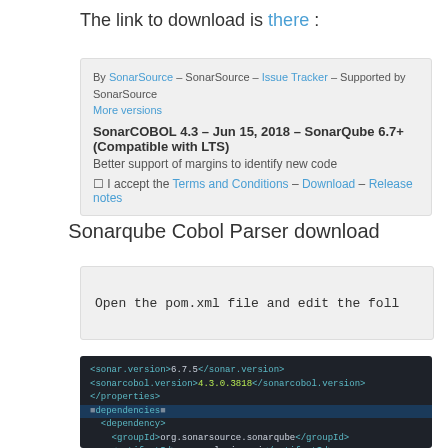The link to download is there :
[Figure (screenshot): Plugin download box showing SonarCOBOL 4.3 on SonarSource marketplace. By SonarSource – SonarSource – Issue Tracker – Supported by SonarSource. More versions. SonarCOBOL 4.3 – Jun 15, 2018 – SonarQube 6.7+ (Compatible with LTS). Better support of margins to identify new code. Checkbox: I accept the Terms and Conditions – Download – Release notes.]
Sonarqube Cobol Parser download
[Figure (screenshot): Gray box with monospace text: Open the pom.xml file and edit the foll]
[Figure (screenshot): Dark-themed XML code editor screenshot showing pom.xml dependencies configuration for SonarCOBOL plugin including sonar.version 6.7.5, sonarcobol.version 4.3.0.3818, and dependency entries for sonarqube and cobol plugins.]